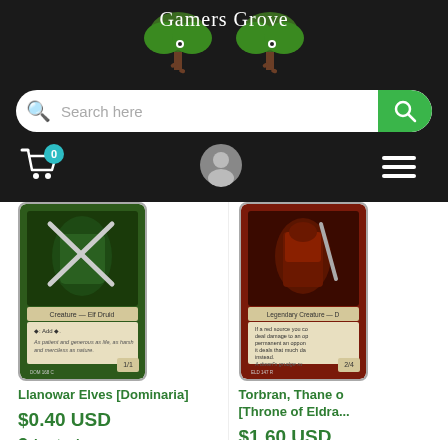Gamers Grove
Search here
[Figure (screenshot): Llanowar Elves [Dominaria] MTG card image showing a green Creature — Elf Druid card]
Llanowar Elves [Dominaria]
$0.40 USD
In stock
[Figure (screenshot): Torbran, Thane of [Throne of Eldra...] MTG card image showing a red Legendary Creature card]
Torbran, Thane o [Throne of Eldra...
$1.60 USD